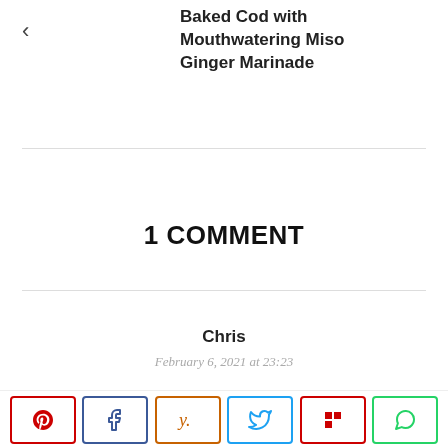Baked Cod with Mouthwatering Miso Ginger Marinade
1 COMMENT
Chris
February 6, 2021 at 23:23
We loved this recipe. Great winter meal. About to make